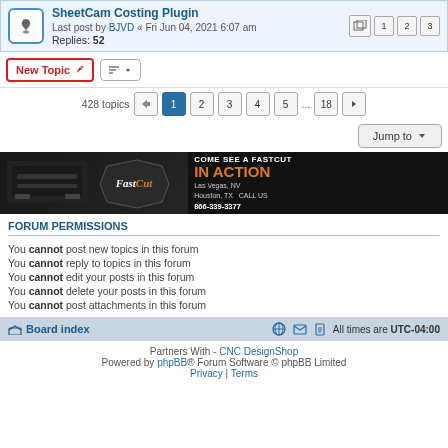SheetCam Costing Plugin - Last post by BJVD « Fri Jun 04, 2021 6:07 am - Replies: 52
New Topic | Sort | 428 topics | pagination: 1 2 3 4 5 ... 18
Jump to
[Figure (photo): FastCut CNC machine advertisement banner - COME SEE A FASTCUT IN ACTION - Las Vegas, NV - Houston, TX - CALL US 866-339-3377]
FORUM PERMISSIONS
You cannot post new topics in this forum
You cannot reply to topics in this forum
You cannot edit your posts in this forum
You cannot delete your posts in this forum
You cannot post attachments in this forum
Board index | All times are UTC-04:00 | Partners With - CNC DesignShop | Powered by phpBB® Forum Software © phpBB Limited | Privacy | Terms